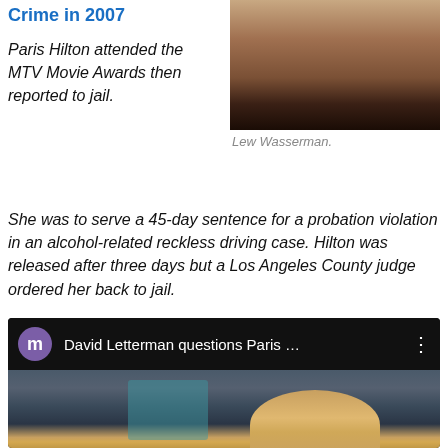[Figure (photo): Photo of Lew Wasserman, an elderly man]
Lew Wasserman.
Crime in 2007
Paris Hilton attended the MTV Movie Awards then reported to jail. She was to serve a 45-day sentence for a probation violation in an alcohol-related reckless driving case. Hilton was released after three days but a Los Angeles County judge ordered her back to jail.
[Figure (screenshot): Video thumbnail showing David Letterman questions Paris ... with a purple 'm' avatar icon and a talk show scene]